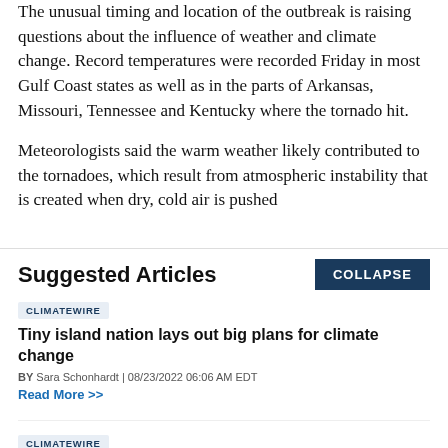The unusual timing and location of the outbreak is raising questions about the influence of weather and climate change. Record temperatures were recorded Friday in most Gulf Coast states as well as in the parts of Arkansas, Missouri, Tennessee and Kentucky where the tornado hit.
Meteorologists said the warm weather likely contributed to the tornadoes, which result from atmospheric instability that is created when dry, cold air is pushed
Suggested Articles
CLIMATEWIRE
Tiny island nation lays out big plans for climate change
BY Sara Schonhardt | 08/23/2022 06:06 AM EDT
Read More >>
CLIMATEWIRE
The top 10 emitting power plants in America